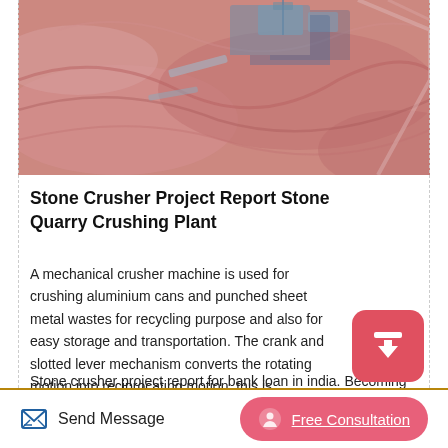[Figure (photo): Aerial view of a stone quarry / crushing plant with pink-red earth tones and industrial machinery visible]
Stone Crusher Project Report Stone Quarry Crushing Plant
A mechanical crusher machine is used for crushing aluminium cans and punched sheet metal wastes for recycling purpose and also for easy storage and transportation. The crank and slotted lever mechanism converts the rotating motion into reciprocating motion, this is.
Stone crusher project report for bank loan in india. Becoming a Brick Manufacturer. Natural stones like sandstone, marble and granite can also be made into bricks.
Send Message   Free Consultation